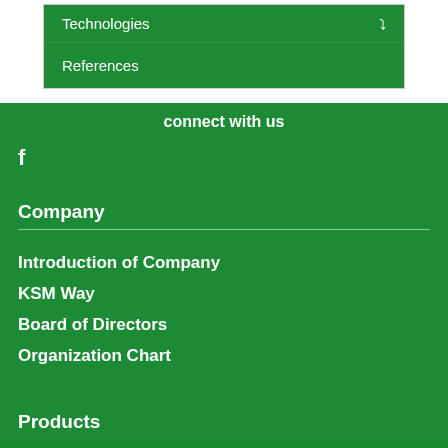Technologies
References
connect with us
f
Company
Introduction of Company
KSM Way
Board of Directors
Organization Chart
Products